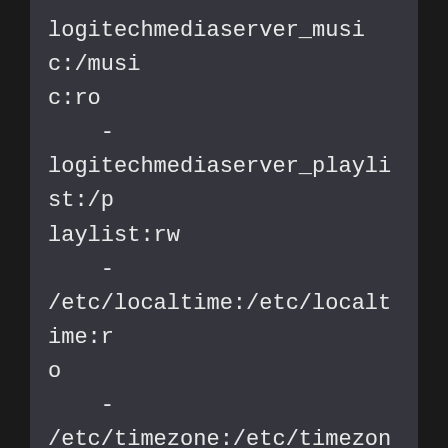logitechmediaserver_music:/music:ro
    -
logitechmediaserver_playlist:/playlist:rw
    -
/etc/localtime:/etc/localtime:ro
    -
/etc/timezone:/etc/timezone:ro

...

volumes:
  ...
  #logitechmediaserver